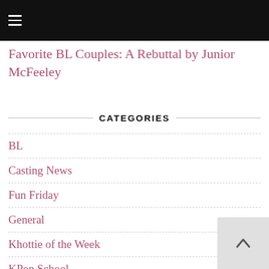☰
Favorite BL Couples: A Rebuttal by Junior McFeeley
CATEGORIES
BL
Casting News
Fun Friday
General
Khottie of the Week
KPop School
Music
NYC Adventures